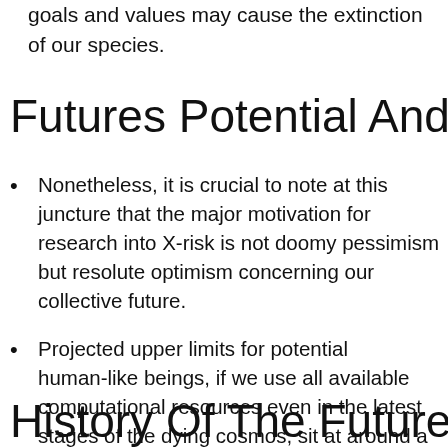goals and values may cause the extinction of our species.
Futures Potential And Perfect
Nonetheless, it is crucial to note at this juncture that the major motivation for research into X-risk is not doomy pessimism but resolute optimism concerning our collective future.
Projected upper limits for potential human-like beings, if we use all available computational resources even in the latest stages of the dying cosmos, sit at around a googol—in decimal notation, the digit 1 followed by 100 zeros.
History Of The Future